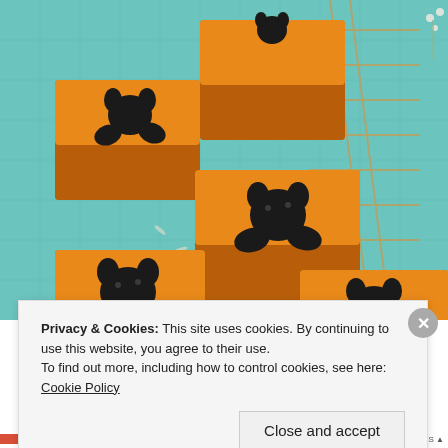[Figure (photo): Overhead photo of orange pumpkin cheesecake bars decorated with black cat silhouettes made from chocolate/jam, arranged on a light teal/mint tiled surface next to a metal cooling rack and small white flowers]
Privacy & Cookies: This site uses cookies. By continuing to use this website, you agree to their use.
To find out more, including how to control cookies, see here: Cookie Policy
Close and accept